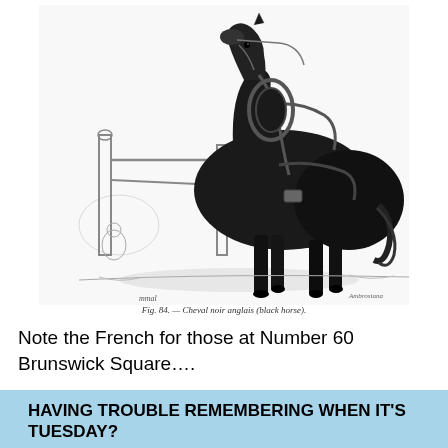[Figure (illustration): Black and white engraving of a dark draft horse in harness standing beside a wooden fence post, with a landscape background. Signed by artist in lower right corner.]
Fig. 84. — Cheval noir anglais (black horse).
Note the French for those at Number 60 Brunswick Square….
HAVING TROUBLE REMEMBERING WHEN IT'S TUESDAY? A SPECIAL MESSENGER SERVICE can GIVE